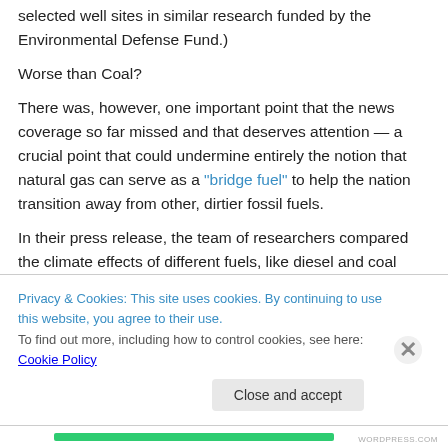selected well sites in similar research funded by the Environmental Defense Fund.)
Worse than Coal?
There was, however, one important point that the news coverage so far missed and that deserves attention — a crucial point that could undermine entirely the notion that natural gas can serve as a “bridge fuel” to help the nation transition away from other, dirtier fossil fuels.
In their press release, the team of researchers compared the climate effects of different fuels, like diesel and coal
Privacy & Cookies: This site uses cookies. By continuing to use this website, you agree to their use.
To find out more, including how to control cookies, see here: Cookie Policy